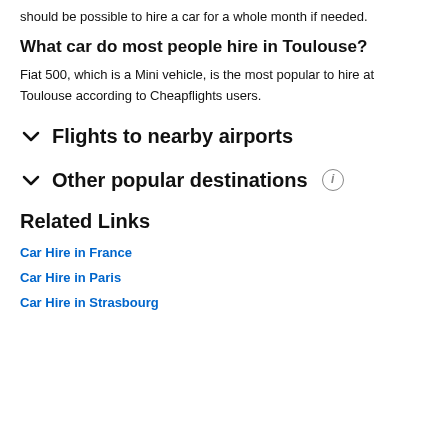should be possible to hire a car for a whole month if needed.
What car do most people hire in Toulouse?
Fiat 500, which is a Mini vehicle, is the most popular to hire at Toulouse according to Cheapflights users.
Flights to nearby airports
Other popular destinations
Related Links
Car Hire in France
Car Hire in Paris
Car Hire in Strasbourg